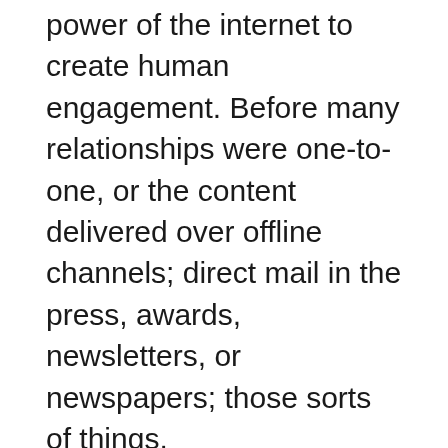A remember the aha moment when you realized the power of the internet to create human engagement. Before many relationships were one-to-one, or the content delivered over offline channels; direct mail in the press, awards, newsletters, or newspapers; those sorts of things.
Then around 2010, we started to create content, and we realized “wow” we could create human engagement from one to many ones to millions very much more efficiently and quickly. It was a real game-changer for us as an agency.
So I have seen all types of content, from the old school direct mail days, the newsletters, and the exhibitions to what we now deliver over social